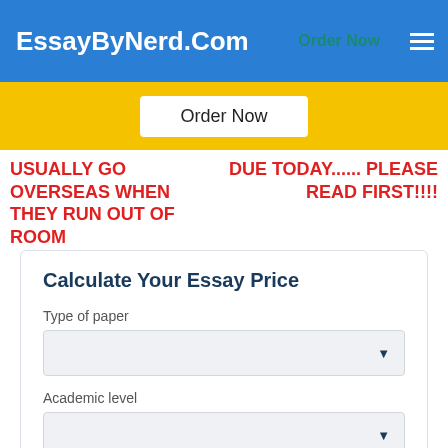EssayByNerd.Com   Order Now
[Figure (screenshot): Yellow navigation bar with 'Order Now' button in white]
USUALLY GO OVERSEAS WHEN THEY RUN OUT OF ROOM
DUE TODAY...... PLEASE READ FIRST!!!!
Calculate Your Essay Price
Type of paper
Academic level
Deadline